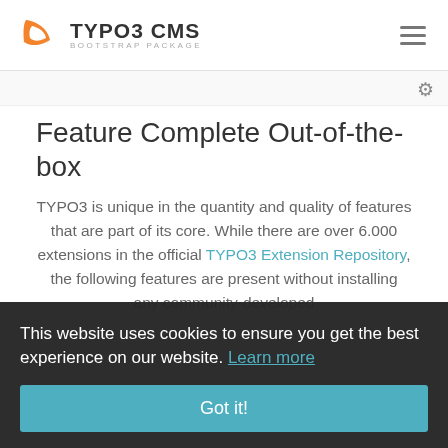[Figure (logo): TYPO3 CMS Bootstrap Package logo with orange leaf/flame icon and text 'TYPO3 CMS BOOTSTRAP PACKAGE']
Feature Complete Out-of-the-box
TYPO3 is unique in the quantity and quality of features that are part of its core. While there are over 6.000 extensions in the official TYPO3 Extension Repository, the following features are present without installing any community-developed
This website uses cookies to ensure you get the best experience on our website. Learn more
Got it!